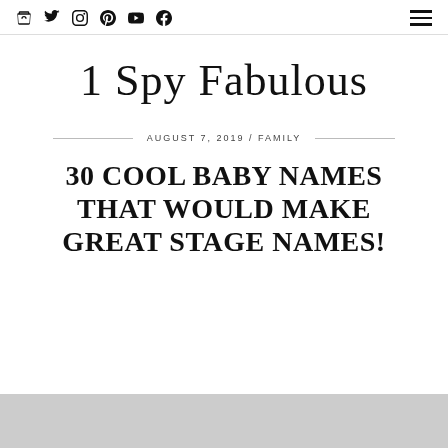Navigation bar with social icons (bag, Twitter, Instagram, Pinterest, YouTube, Facebook) and hamburger menu
1 Spy Fabulous
AUGUST 7, 2019 / FAMILY
30 COOL BABY NAMES THAT WOULD MAKE GREAT STAGE NAMES!
[Figure (photo): Bottom gray image strip]